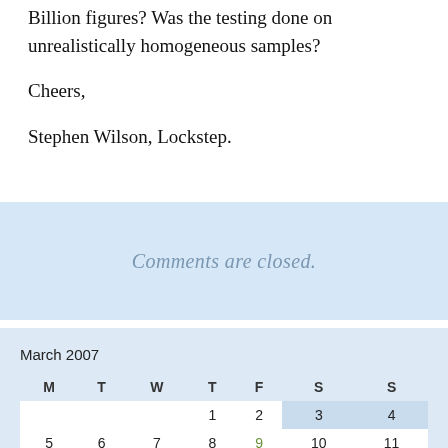Billion figures? Was the testing done on unrealistically homogeneous samples?
Cheers,
Stephen Wilson, Lockstep.
Comments are closed.
| M | T | W | T | F | S | S |
| --- | --- | --- | --- | --- | --- | --- |
|  |  |  | 1 | 2 | 3 | 4 |
| 5 | 6 | 7 | 8 | 9 | 10 | 11 |